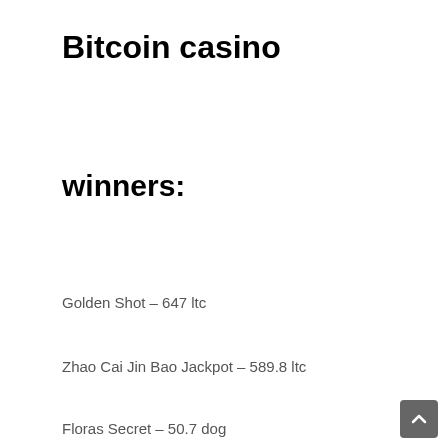Bitcoin casino
winners:
Golden Shot – 647 ltc
Zhao Cai Jin Bao Jackpot – 589.8 ltc
Floras Secret – 50.7 dog